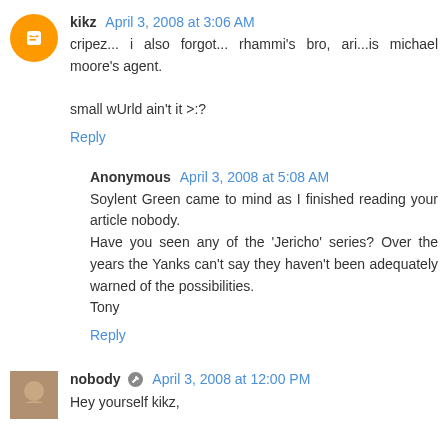kikz  April 3, 2008 at 3:06 AM
cripez... i also forgot... rhammi's bro, ari...is michael moore's agent.

small wUrld ain't it >:?
Reply
Anonymous  April 3, 2008 at 5:08 AM
Soylent Green came to mind as I finished reading your article nobody.
Have you seen any of the 'Jericho' series? Over the years the Yanks can't say they haven't been adequately warned of the possibilities.
Tony
Reply
nobody  April 3, 2008 at 12:00 PM
Hey yourself kikz,